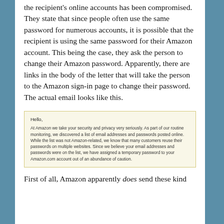the recipient's online accounts has been compromised. They state that since people often use the same password for numerous accounts, it is possible that the recipient is using the same password for their Amazon account. This being the case, they ask the person to change their Amazon password. Apparently, there are links in the body of the letter that will take the person to the Amazon sign-in page to change their password. The actual email looks like this.
[Figure (screenshot): A screenshot of an Amazon phishing email with a light yellow background. The email reads: 'Hello, At Amazon we take your security and privacy very seriously. As part of our routine monitoring, we discovered a list of email addresses and passwords posted online. While the list was not Amazon-related, we know that many customers reuse their passwords on multiple websites. Since we believe your email addresses and passwords were on the list, we have assigned a temporary password to your Amazon.com account out of an abundance of caution.']
First of all, Amazon apparently does send these kind